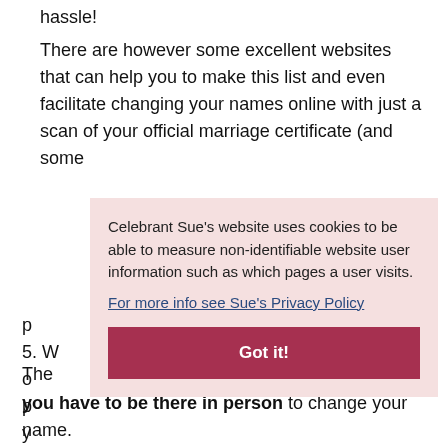hassle!
There are however some excellent websites that can help you to make this list and even facilitate changing your names online with just a scan of your official marriage certificate (and some
5. W...
[Figure (screenshot): Cookie consent overlay with pink background. Text: 'Celebrant Sue's website uses cookies to be able to measure non-identifiable website user information such as which pages a user visits.' Link: 'For more info see Sue's Privacy Policy'. Button: 'Got it!']
The... you have to be there in person to change your name.